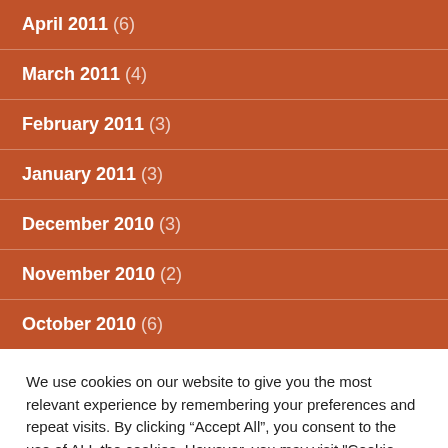April 2011 (6)
March 2011 (4)
February 2011 (3)
January 2011 (3)
December 2010 (3)
November 2010 (2)
October 2010 (6)
We use cookies on our website to give you the most relevant experience by remembering your preferences and repeat visits. By clicking “Accept All”, you consent to the use of ALL the cookies. However, you may visit "Cookie Settings" to provide a controlled consent.
Cookie Settings | Accept All